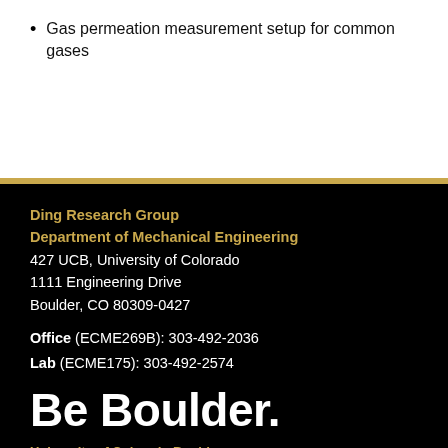Gas permeation measurement setup for common gases
Ding Research Group
Department of Mechanical Engineering
427 UCB, University of Colorado
1111 Engineering Drive
Boulder, CO 80309-0427
Office (ECME269B): 303-492-2036
Lab (ECME175): 303-492-2574
Be Boulder.
University of Colorado Boulder
© Regents of the University of Colorado
Privacy · Legal & Trademarks · Campus Map